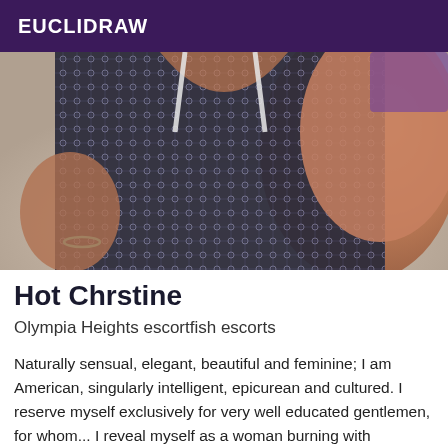EUCLIDRAW
[Figure (photo): Close-up photo of a woman wearing a dark patterned sleeveless top, selfie style, tanned skin visible]
Hot Chrstine
Olympia Heights escortfish escorts
Naturally sensual, elegant, beautiful and feminine; I am American, singularly intelligent, epicurean and cultured. I reserve myself exclusively for very well educated gentlemen, for whom... I reveal myself as a woman burning with voluptuousness! Courtesan of charm, I will